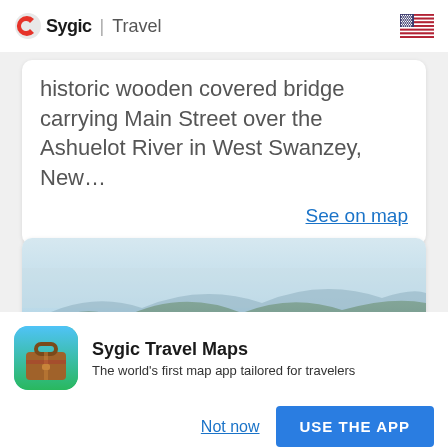Sygic | Travel
historic wooden covered bridge carrying Main Street over the Ashuelot River in West Swanzey, New…
See on map
[Figure (photo): Misty mountain landscape viewed from a covered structure, showing layered green hills fading into hazy sky]
Sygic Travel Maps
The world's first map app tailored for travelers
Not now
USE THE APP